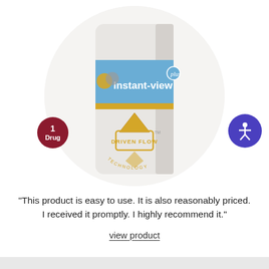[Figure (photo): Round-cropped product photo of an 'Instant-view Plus' drug test bottle with blue label, gold stripe, Driven Flow Technology logo. A red badge reads '1 Drug' and a purple accessibility icon appears to the right.]
"This product is easy to use. It is also reasonably priced. I received it promptly. I highly recommend it."
view product